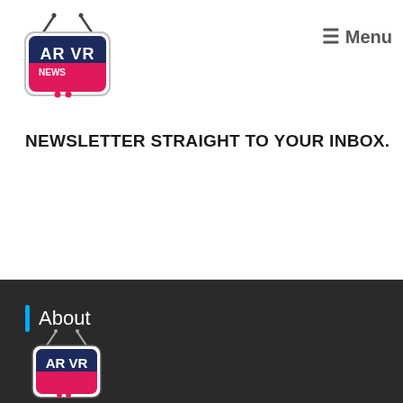[Figure (logo): AR VR News TV logo — stylized television set with antenna, magenta/pink and dark blue coloring, text 'AR VR NEWS']
☰ Menu
NEWSLETTER STRAIGHT TO YOUR INBOX.
About
[Figure (logo): AR VR News TV logo repeated in footer — stylized television set with antenna, magenta/pink and dark blue coloring, text 'AR VR']